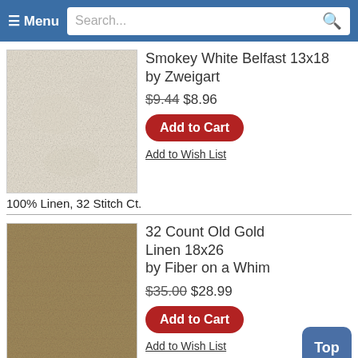≡ Menu  Search...
[Figure (photo): Smokey white linen fabric texture, off-white/cream color]
Smokey White Belfast 13x18 by Zweigart
$9.44 $8.96
Add to Cart
Add to Wish List
100% Linen, 32 Stitch Ct.
[Figure (photo): Old gold/tan colored linen fabric texture]
32 Count Old Gold Linen 18x26 by Fiber on a Whim
$35.00 $28.99
Add to Cart
Add to Wish List
100% Zweigart Belfast linen, hand dyed